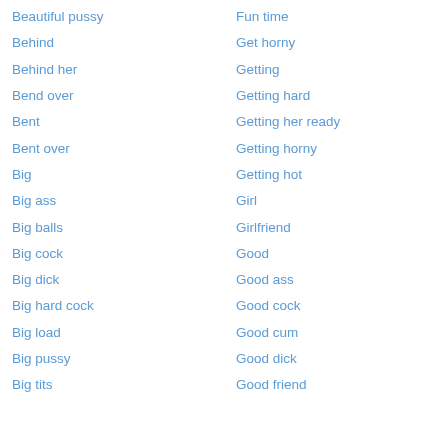Beautiful pussy
Behind
Behind her
Bend over
Bent
Bent over
Big
Big ass
Big balls
Big cock
Big dick
Big hard cock
Big load
Big pussy
Big tits
Fun time
Get horny
Getting
Getting hard
Getting her ready
Getting horny
Getting hot
Girl
Girlfriend
Good
Good ass
Good cock
Good cum
Good dick
Good friend